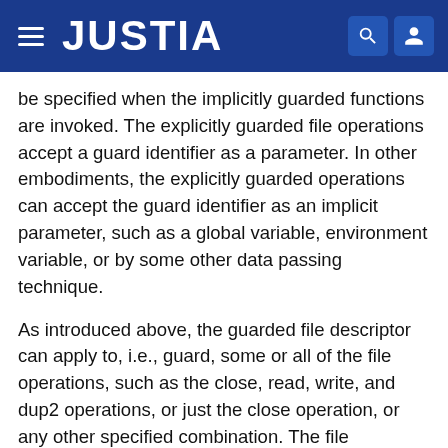JUSTIA
be specified when the implicitly guarded functions are invoked. The explicitly guarded file operations accept a guard identifier as a parameter. In other embodiments, the explicitly guarded operations can accept the guard identifier as an implicit parameter, such as a global variable, environment variable, or by some other data passing technique.
As introduced above, the guarded file descriptor can apply to, i.e., guard, some or all of the file operations, such as the close, read, write, and dup2 operations, or just the close operation, or any other specified combination. The file operations that are to be guarded can be specified by, for example, supplying a guard flags parameter to the open operation, or using other ways to associate a set of operations with a file descriptor. In one example, the guarded_open function has a